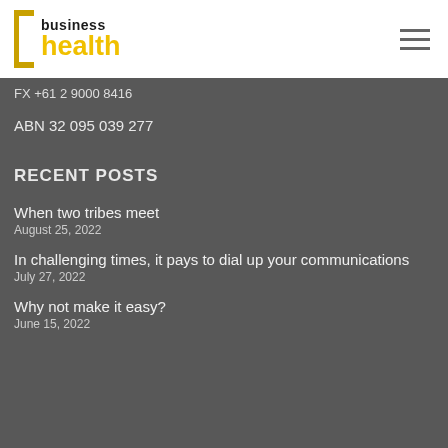[Figure (logo): Business Health logo with yellow bracket on left, 'business' in black bold and 'health' in yellow bold]
FX +61 2 9000 8416
ABN 32 095 039 277
RECENT POSTS
When two tribes meet
August 25, 2022
In challenging times, it pays to dial up your communications
July 27, 2022
Why not make it easy?
June 15, 2022